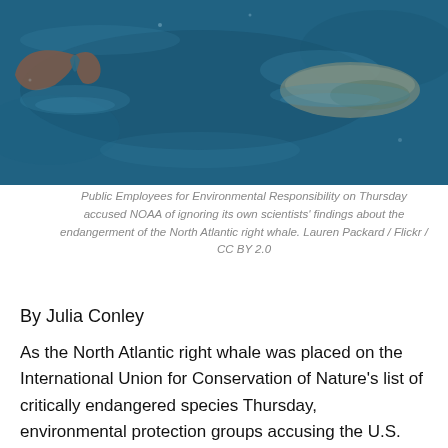[Figure (photo): Aerial view of North Atlantic right whales swimming in dark blue ocean water, showing tail flukes and surfacing bodies.]
Public Employees for Environmental Responsibility on Thursday accused NOAA of ignoring its own scientists' findings about the endangerment of the North Atlantic right whale. Lauren Packard / Flickr / CC BY 2.0
By Julia Conley
As the North Atlantic right whale was placed on the International Union for Conservation of Nature's list of critically endangered species Thursday, environmental protection groups accusing the U.S. government of bowing to fishing and fossil fuel industry pressure to downplay the threat and failing to enact common-sense restrictions to protect the animals.